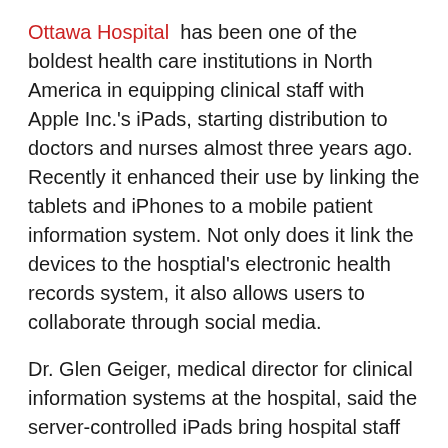Ottawa Hospital has been one of the boldest health care institutions in North America in equipping clinical staff with Apple Inc.'s iPads, starting distribution to doctors and nurses almost three years ago. Recently it enhanced their use by linking the tablets and iPhones to a mobile patient information system. Not only does it link the devices to the hosptial's electronic health records system, it also allows users to collaborate through social media.
Dr. Glen Geiger, medical director for clinical information systems at the hospital, said the server-controlled iPads bring hospital staff onto the same wavelength, a big plus for chronically rushed medical professionals with frequently overlapping responsibilities.